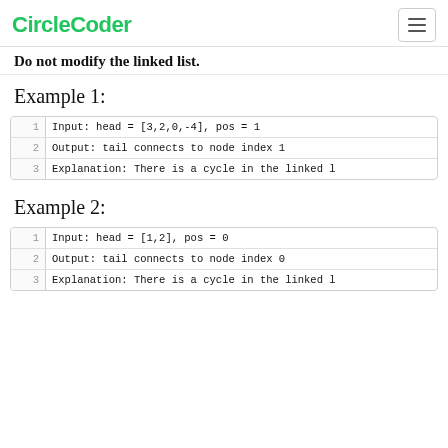CircleCoder
Do not modify the linked list.
Example 1:
| line | code |
| --- | --- |
| 1 | Input: head = [3,2,0,-4], pos = 1 |
| 2 | Output: tail connects to node index 1 |
| 3 | Explanation: There is a cycle in the linked l... |
Example 2:
| line | code |
| --- | --- |
| 1 | Input: head = [1,2], pos = 0 |
| 2 | Output: tail connects to node index 0 |
| 3 | Explanation: There is a cycle in the linked l... |